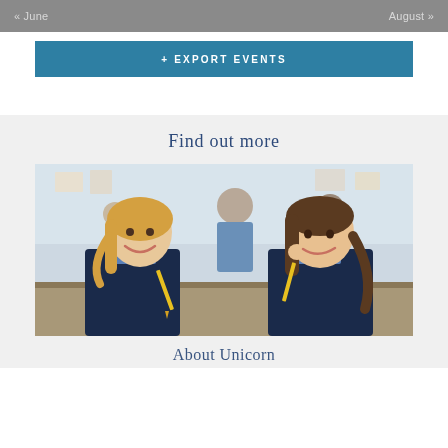« June    August »
+ EXPORT EVENTS
Find out more
[Figure (photo): Two young girls in school uniforms (navy blazers and blue shirts) sitting at a classroom desk, laughing and holding pencils. A teacher and other students are visible in the blurred background.]
About Unicorn